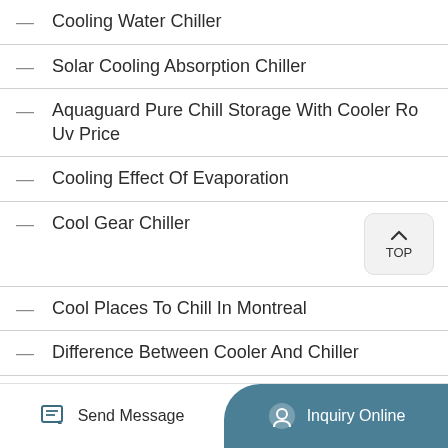Cooling Water Chiller
Solar Cooling Absorption Chiller
Aquaguard Pure Chill Storage With Cooler Ro Uv Price
Cooling Effect Of Evaporation
Cool Gear Chiller
Cool Places To Chill In Montreal
Difference Between Cooler And Chiller
Allergies From Lux Living Softcell Chill Hybrid Cooling Pillow
Send Message | Inquiry Online